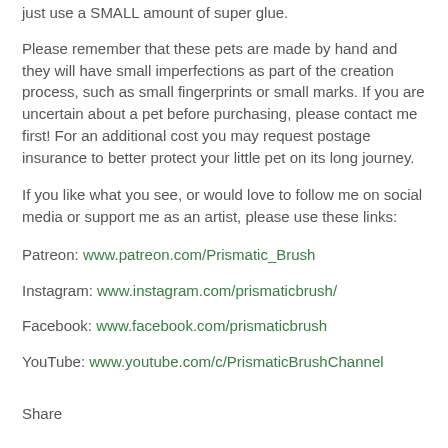just use a SMALL amount of super glue.
Please remember that these pets are made by hand and they will have small imperfections as part of the creation process, such as small fingerprints or small marks. If you are uncertain about a pet before purchasing, please contact me first! For an additional cost you may request postage insurance to better protect your little pet on its long journey.
If you like what you see, or would love to follow me on social media or support me as an artist, please use these links:
Patreon: www.patreon.com/Prismatic_Brush
Instagram: www.instagram.com/prismaticbrush/
Facebook: www.facebook.com/prismaticbrush
YouTube: www.youtube.com/c/PrismaticBrushChannel
Share